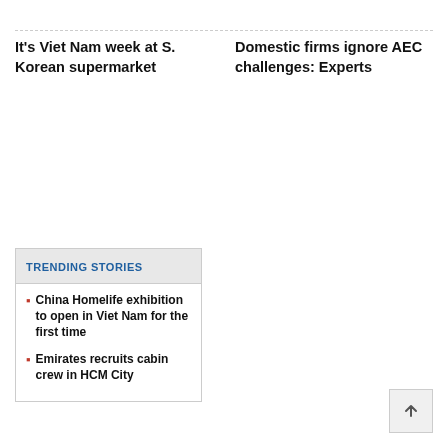It's Viet Nam week at S. Korean supermarket
Domestic firms ignore AEC challenges: Experts
TRENDING STORIES
China Homelife exhibition to open in Viet Nam for the first time
Emirates recruits cabin crew in HCM City